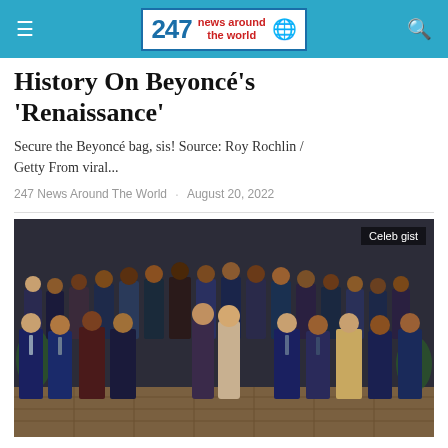247 News Around The World
History On Beyoncé's 'Renaissance'
Secure the Beyoncé bag, sis! Source: Roy Rochlin / Getty From viral...
247 News Around The World · August 20, 2022
[Figure (photo): Large group photo of men and two women in formal attire standing together indoors with a 'Celeb gist' badge in the top right corner]